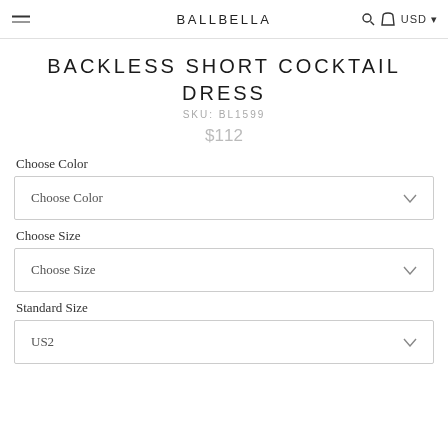BALLBELLA USD
BACKLESS SHORT COCKTAIL DRESS
SKU: BL1599
$112
Choose Color
Choose Color
Choose Size
Choose Size
Standard Size
US2